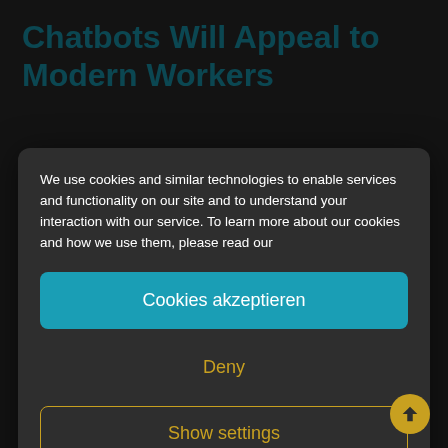Chatbots Will Appeal to Modern Workers
We use cookies and similar technologies to enable services and functionality on our site and to understand your interaction with our service. To learn more about our cookies and how we use them, please read our
Cookies akzeptieren
Deny
Show settings
Application Architecture, Development & Integration Summit, held March 12-13 in Mumbai.
https://www.gartner.com/smarterwithgartner/chatbots-